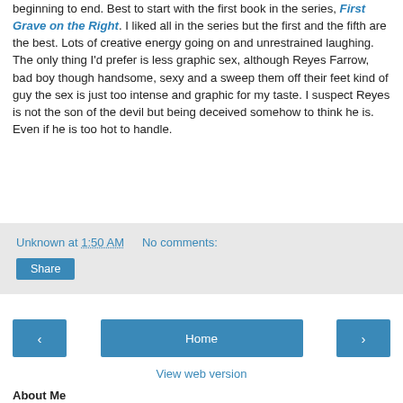beginning to end. Best to start with the first book in the series, First Grave on the Right. I liked all in the series but the first and the fifth are the best. Lots of creative energy going on and unrestrained laughing. The only thing I'd prefer is less graphic sex, although Reyes Farrow, bad boy though handsome, sexy and a sweep them off their feet kind of guy the sex is just too intense and graphic for my taste. I suspect Reyes is not the son of the devil but being deceived somehow to think he is. Even if he is too hot to handle.
Unknown at 1:50 AM   No comments:
Share
‹
Home
›
View web version
About Me